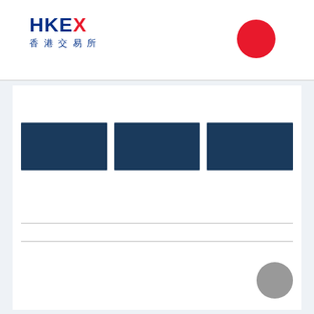HKEX 香港交易所
[Figure (other): Three dark navy blue rectangular boxes arranged in a horizontal row]
[Figure (other): Red circle logo element in top right of header]
[Figure (other): Gray circle element in bottom right of page]